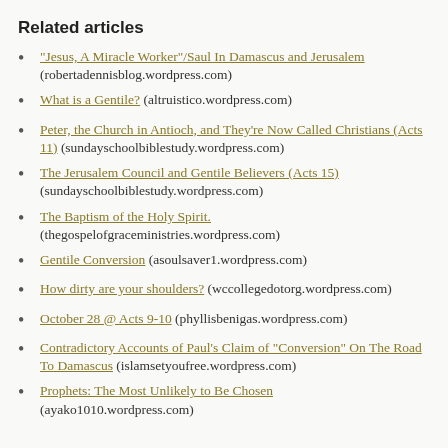Related articles
"Jesus, A Miracle Worker"/Saul In Damascus and Jerusalem (robertadennisblog.wordpress.com)
What is a Gentile? (altruistico.wordpress.com)
Peter, the Church in Antioch, and They're Now Called Christians (Acts 11) (sundayschoolbiblestudy.wordpress.com)
The Jerusalem Council and Gentile Believers (Acts 15) (sundayschoolbiblestudy.wordpress.com)
The Baptism of the Holy Spirit. (thegospelofgraceministries.wordpress.com)
Gentile Conversion (asoulsaver1.wordpress.com)
How dirty are your shoulders? (wccollegedotorg.wordpress.com)
October 28 @ Acts 9-10 (phyllisbenigas.wordpress.com)
Contradictory Accounts of Paul's Claim of "Conversion" On The Road To Damascus (islamsetyoufree.wordpress.com)
Prophets: The Most Unlikely to Be Chosen (ayako1010.wordpress.com)